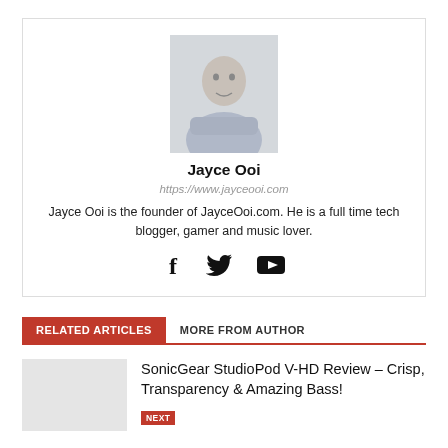[Figure (photo): Author profile photo of Jayce Ooi, a person with arms crossed, wearing a suit, gray/blue toned photo]
Jayce Ooi
https://www.jayceooi.com
Jayce Ooi is the founder of JayceOoi.com. He is a full time tech blogger, gamer and music lover.
[Figure (infographic): Social media icons: Facebook (f), Twitter (bird), YouTube (play button)]
RELATED ARTICLES
MORE FROM AUTHOR
SonicGear StudioPod V-HD Review – Crisp, Transparency & Amazing Bass!